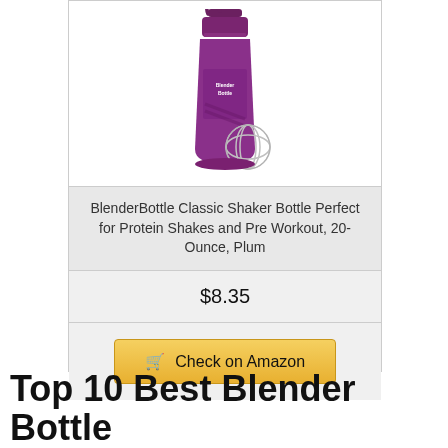[Figure (photo): BlenderBottle Classic Shaker Bottle in plum/purple color with wire whisk ball, shown on white background]
BlenderBottle Classic Shaker Bottle Perfect for Protein Shakes and Pre Workout, 20-Ounce, Plum
$8.35
Check on Amazon
Top 10 Best Blender Bottle